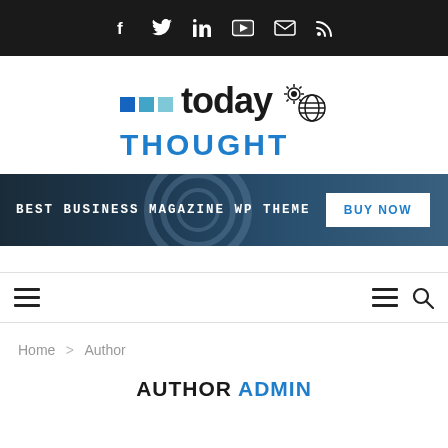Social icons bar: f, Twitter, in, YouTube, email, RSS
[Figure (logo): Today Thought logo with colored squares and gear/globe icon]
[Figure (infographic): Banner: BEST BUSINESS MAGAZINE WP THEME with BUY NOW button]
[Figure (infographic): Navigation bar with hamburger menu icons and search icon]
Home > Author
AUTHOR ADMIN